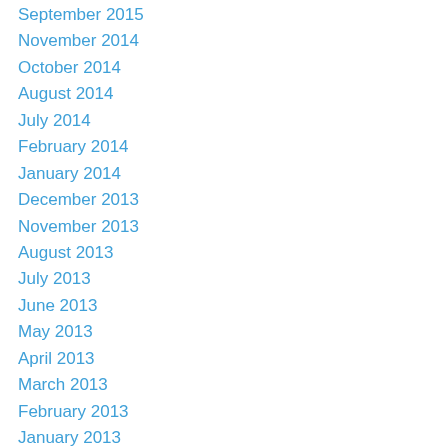September 2015
November 2014
October 2014
August 2014
July 2014
February 2014
January 2014
December 2013
November 2013
August 2013
July 2013
June 2013
May 2013
April 2013
March 2013
February 2013
January 2013
December 2012
November 2012
October 2012